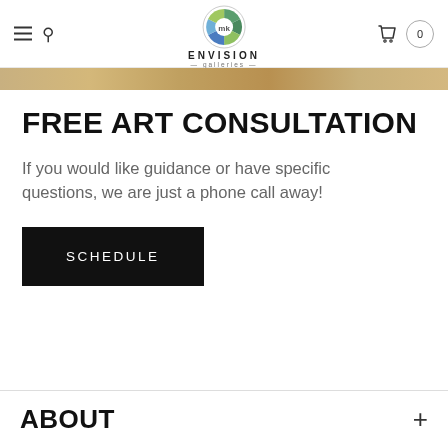ENVISION galleries — navigation header with hamburger menu, search, logo, cart (0)
[Figure (photo): Partial image strip showing artwork or gallery scene in warm tones]
FREE ART CONSULTATION
If you would like guidance or have specific questions, we are just a phone call away!
SCHEDULE
ABOUT